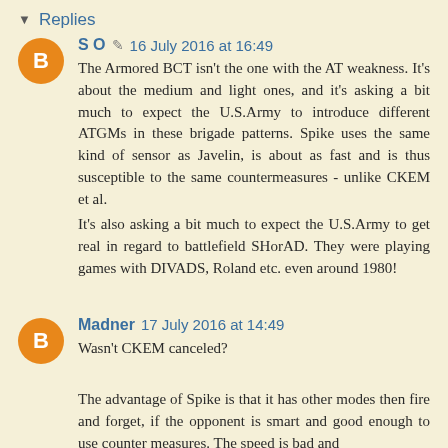Replies
S O  16 July 2016 at 16:49
The Armored BCT isn't the one with the AT weakness. It's about the medium and light ones, and it's asking a bit much to expect the U.S.Army to introduce different ATGMs in these brigade patterns. Spike uses the same kind of sensor as Javelin, is about as fast and is thus susceptible to the same countermeasures - unlike CKEM et al.
It's also asking a bit much to expect the U.S.Army to get real in regard to battlefield SHorAD. They were playing games with DIVADS, Roland etc. even around 1980!
Madner  17 July 2016 at 14:49
Wasn't CKEM canceled?

The advantage of Spike is that it has other modes then fire and forget, if the opponent is smart and good enough to use counter measures. The speed is bad and